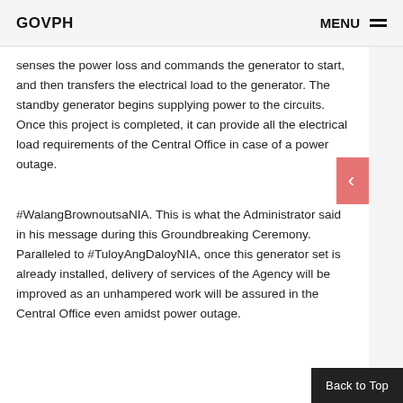GOVPH   MENU
senses the power loss and commands the generator to start, and then transfers the electrical load to the generator. The standby generator begins supplying power to the circuits. Once this project is completed, it can provide all the electrical load requirements of the Central Office in case of a power outage.
#WalangBrownoutsaNIA. This is what the Administrator said in his message during this Groundbreaking Ceremony. Paralleled to #TuloyAngDaloyNIA, once this generator set is already installed, delivery of services of the Agency will be improved as an unhampered work will be assured in the Central Office even amidst power outage.